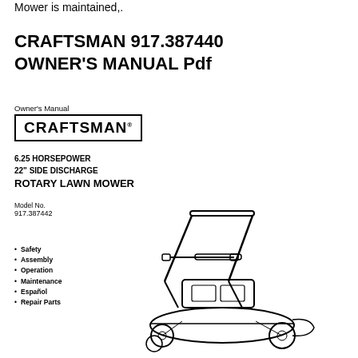Mower is maintained,.
CRAFTSMAN 917.387440 OWNER'S MANUAL Pdf
Owner's Manual
[Figure (logo): CRAFTSMAN logo in a bordered box]
6.25 HORSEPOWER
22" SIDE DISCHARGE
ROTARY LAWN MOWER
Model No.
917.387442
Safety
Assembly
Operation
Maintenance
Español
Repair Parts
[Figure (illustration): Line drawing illustration of a Craftsman 22-inch rotary lawn mower, showing handle, deck, wheels, and engine]